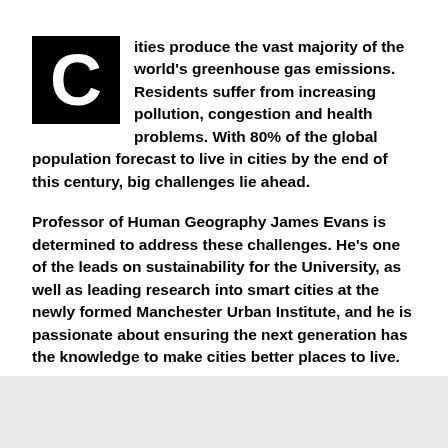Cities produce the vast majority of the world's greenhouse gas emissions. Residents suffer from increasing pollution, congestion and health problems. With 80% of the global population forecast to live in cities by the end of this century, big challenges lie ahead.
Professor of Human Geography James Evans is determined to address these challenges. He's one of the leads on sustainability for the University, as well as leading research into smart cities at the newly formed Manchester Urban Institute, and he is passionate about ensuring the next generation has the knowledge to make cities better places to live.